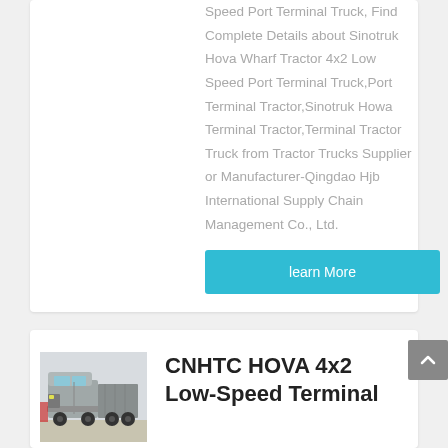Speed Port Terminal Truck, Find Complete Details about Sinotruk Hova Wharf Tractor 4x2 Low Speed Port Terminal Truck,Port Terminal Tractor,Sinotruk Howa Terminal Tractor,Terminal Tractor Truck from Tractor Trucks Supplier or Manufacturer-Qingdao Hjb International Supply Chain Management Co., Ltd.
learn More
[Figure (photo): Photo of a gray CNHTC HOVA semi-truck / tractor unit parked outdoors]
CNHTC HOVA 4x2 Low-Speed Terminal